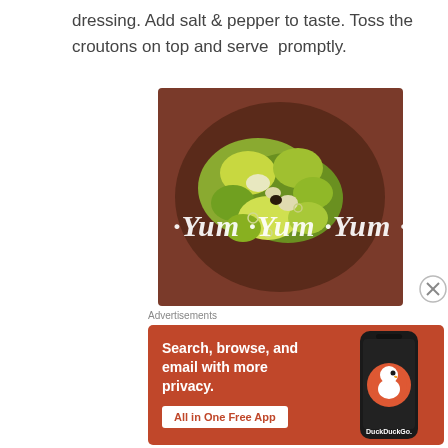dressing. Add salt & pepper to taste. Toss the croutons on top and serve promptly.
[Figure (photo): A bowl of green salad with chopped vegetables and the text 'Yum Yum Yum' overlaid in white script font]
Advertisements
[Figure (screenshot): DuckDuckGo advertisement banner with orange background. Text: 'Search, browse, and email with more privacy. All in One Free App'. Shows a phone with DuckDuckGo logo and name.]